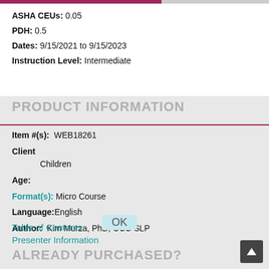ASHA CEUs: 0.05
PDH: 0.5
Dates: 9/15/2021 to 9/15/2023
Instruction Level: Intermediate
PRODUCT INFORMATION
Item #(s): WEB18261
Client Age: Children
Format(s): Micro Course
Language: English
Author: Kim Murza, PhD, CCC-SLP
Table of Contents
Presenter Information
ALREADY PURCHASED?